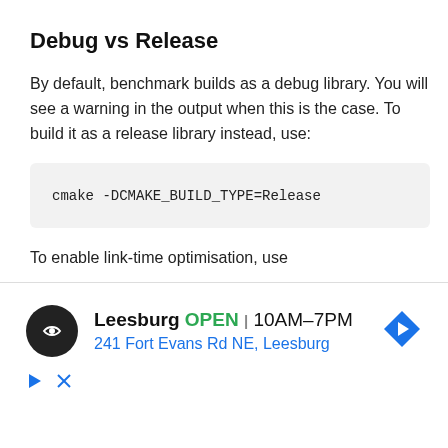Debug vs Release
By default, benchmark builds as a debug library. You will see a warning in the output when this is the case. To build it as a release library instead, use:
cmake -DCMAKE_BUILD_TYPE=Release
To enable link-time optimisation, use
cmake -DCMAKE_BUILD_TYPE=Release -DBENCHMARK_
If you are using gcc, you might need to set GCC_AR